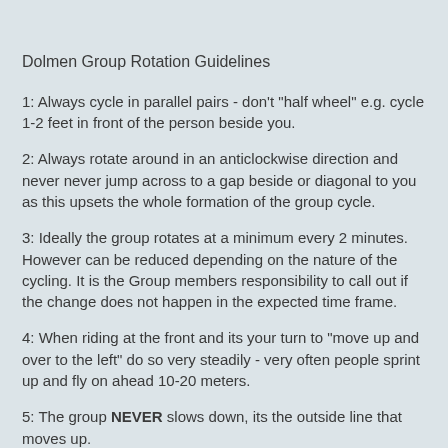Dolmen Group Rotation Guidelines
1: Always cycle in parallel pairs - don't "half wheel" e.g. cycle 1-2 feet in front of the person beside you.
2: Always rotate around in an anticlockwise direction and never never jump across to a gap beside or diagonal to you as this upsets the whole formation of the group cycle.
3: Ideally the group rotates at a minimum every 2 minutes. However can be reduced depending on the nature of the cycling. It is the Group members responsibility to call out if the change does not happen in the expected time frame.
4: When riding at the front and its your turn to "move up and over to the left" do so very steadily - very often people sprint up and fly on ahead 10-20 meters.
5: The group NEVER slows down, its the outside line that moves up.
6: If you are finding the "going" too hard just stay at the back